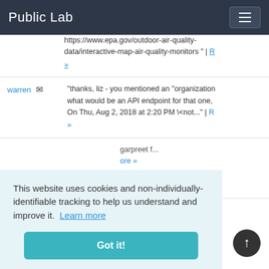Public Lab
https://www.epa.gov/outdoor-air-quality-data/interactive-map-air-quality-monitors " | R »
warren — "thanks, liz - you mentioned an "organization what would be an API endpoint for that one, On Thu, Aug 2, 2018 at 2:20 PM \<not..." | R »
garpreet f... ore » | Read mo...
This website uses cookies and non-individually-identifiable tracking to help us understand and improve it. Learn more Got it!